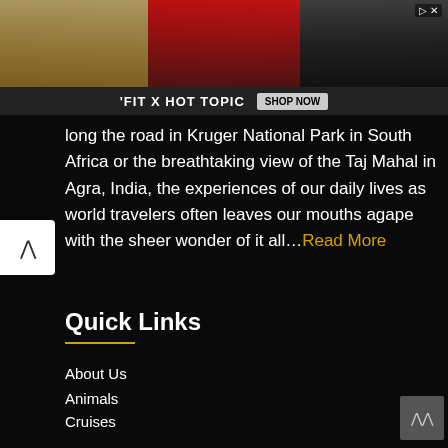[Figure (photo): Advertisement banner showing three young people with 'FIT X HOT TOPIC' text and 'SHOP NOW' button, with close button in top right]
long the road in Kruger National Park in South Africa or the breathtaking view of the Taj Mahal in Agra, India, the experiences of our daily lives as world travelers often leaves our mouths agape with the sheer wonder of it all…Read More
Quick Links
About Us
Animals
Cruises
Food Around The World
Future Travel Plans
Health Insurance